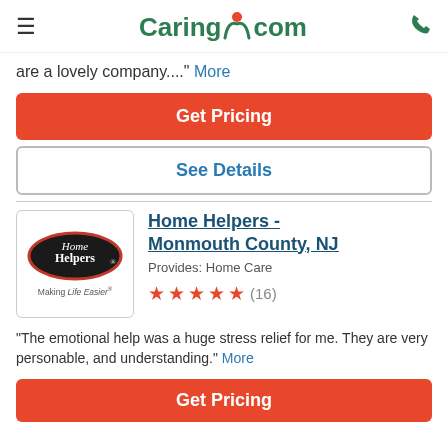Caring.com
are a lovely company...." More
Get Pricing
See Details
[Figure (logo): Home Helpers - Making Life Easier logo, black oval with red border, white script text]
Home Helpers - Monmouth County, NJ
Provides: Home Care
★★★★★ (16)
"The emotional help was a huge stress relief for me. They are very personable, and understanding." More
Get Pricing